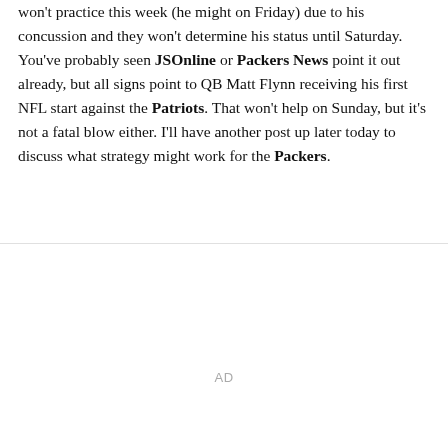won't practice this week (he might on Friday) due to his concussion and they won't determine his status until Saturday. You've probably seen JSOnline or Packers News point it out already, but all signs point to QB Matt Flynn receiving his first NFL start against the Patriots. That won't help on Sunday, but it's not a fatal blow either. I'll have another post up later today to discuss what strategy might work for the Packers.
AD